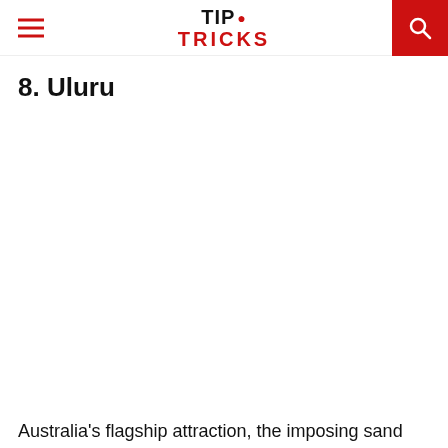TIP TRICKS
8. Uluru
[Figure (photo): Image placeholder area for Uluru photo]
Australia's flagship attraction, the imposing sand